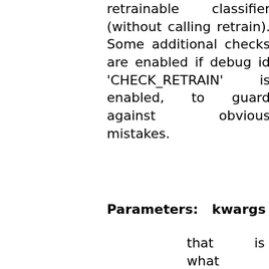retrainable classifier (without calling retrain). Some additional checks are enabled if debug id 'CHECK_RETRAIN' is enabled, to guard against obvious mistakes.
Parameters: kwargs
that is what _changedData gets updated with. So, smth like (params=['c'],